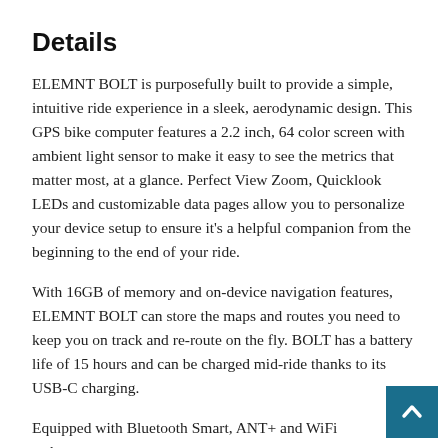Details
ELEMNT BOLT is purposefully built to provide a simple, intuitive ride experience in a sleek, aerodynamic design. This GPS bike computer features a 2.2 inch, 64 color screen with ambient light sensor to make it easy to see the metrics that matter most, at a glance. Perfect View Zoom, Quicklook LEDs and customizable data pages allow you to personalize your device setup to ensure it's a helpful companion from the beginning to the end of your ride.
With 16GB of memory and on-device navigation features, ELEMNT BOLT can store the maps and routes you need to keep you on track and re-route on the fly. BOLT has a battery life of 15 hours and can be charged mid-ride thanks to its USB-C charging.
Equipped with Bluetooth Smart, ANT+ and WiFi technology, ELEMNT BOLT pairs seamlessly with all of your cycling